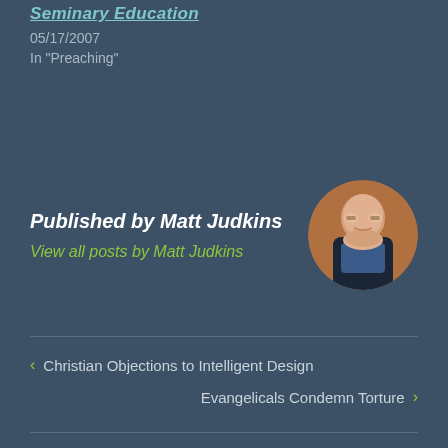Seminary Education
05/17/2007
In "Preaching"
Published by Matt Judkins
View all posts by Matt Judkins
[Figure (photo): Circular avatar photo of Matt Judkins, a man with glasses smiling, wearing a dark jacket over a plaid shirt, against an orange/brown background.]
‹  Christian Objections to Intelligent Design
Evangelicals Condemn Torture  ›